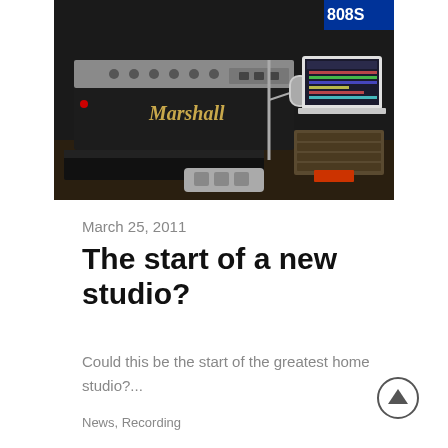[Figure (photo): Photo of a recording studio setup showing a Marshall amplifier head, microphone stand, laptop computer with DAW software open, and other audio equipment on a table]
March 25, 2011
The start of a new studio?
Could this be the start of the greatest home studio?...
News, Recording